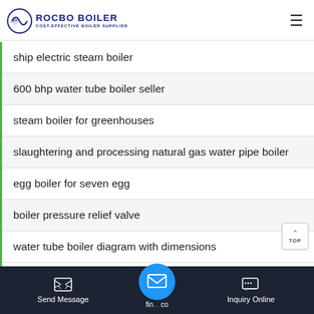ROCBO BOILER COST-EFFECTIVE BOILER SUPPLIER
ship electric steam boiler
600 bhp water tube boiler seller
steam boiler for greenhouses
slaughtering and processing natural gas water pipe boiler
egg boiler for seven egg
boiler pressure relief valve
water tube boiler diagram with dimensions
Send Message   find co   Inquiry Online